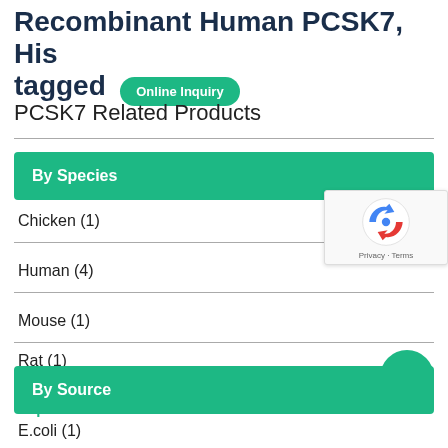Recombinant Human PCSK7, His tagged  Online Inquiry
PCSK7 Related Products
By Species
Chicken (1)
Human (4)
Mouse (1)
Rat (1)
Expand +
By Source
E.coli (1)